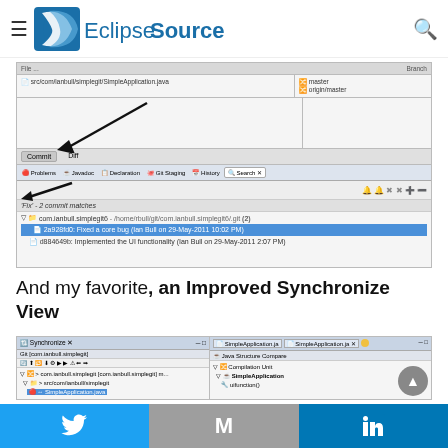EclipseSource
[Figure (screenshot): Eclipse IDE Git search results showing 'Fix' - 2 commit matches with arrows pointing to search panel and results list, with commits by Ian Bull on 29-May-2011]
And my favorite, an Improved Synchronize View
[Figure (screenshot): Eclipse IDE Synchronize view alongside SimpleApplication.java editor showing Java Structure Compare with Compilation Unit and SimpleApplication tree]
Twitter | Email | LinkedIn social share bar